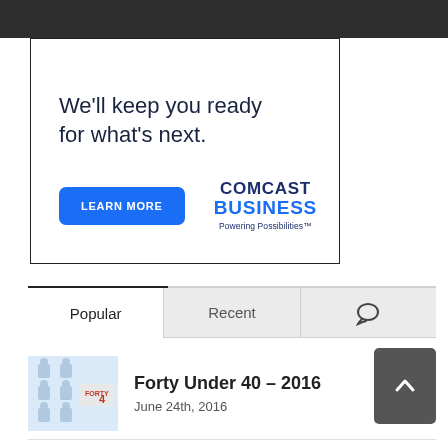[Figure (advertisement): Comcast Business advertisement: 'We'll keep you ready for what's next.' with a LEARN MORE button and Comcast Business Powering Possibilities logo]
Popular
Recent
💬
[Figure (photo): Thumbnail image for Forty Under 40 – 2016 article showing small group photos]
Forty Under 40 – 2016
June 24th, 2016